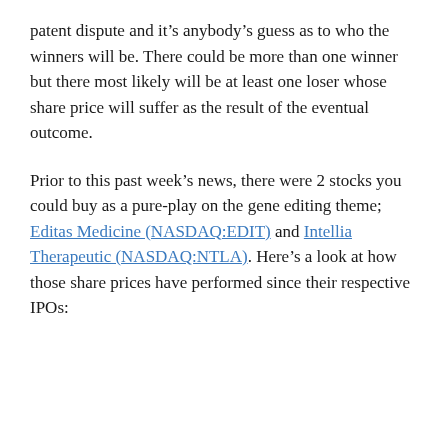patent dispute and it's anybody's guess as to who the winners will be. There could be more than one winner but there most likely will be at least one loser whose share price will suffer as the result of the eventual outcome.
Prior to this past week's news, there were 2 stocks you could buy as a pure-play on the gene editing theme; Editas Medicine (NASDAQ:EDIT) and Intellia Therapeutic (NASDAQ:NTLA). Here's a look at how those share prices have performed since their respective IPOs: